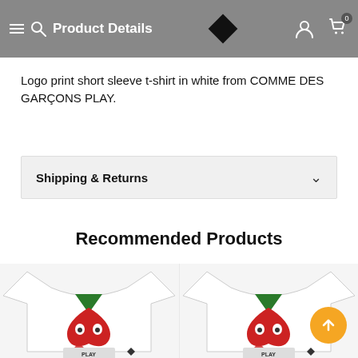Product Details
Logo print short sleeve t-shirt in white from COMME DES GARÇONS PLAY.
Shipping & Returns
Recommended Products
[Figure (photo): Two white COMME DES GARÇONS PLAY t-shirts with red heart logo and eyes, shown side by side as recommended products.]